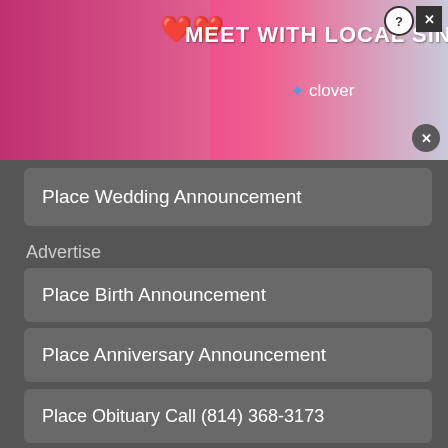[Figure (screenshot): Pink dating app advertisement banner reading MEET WITH LOCAL SINGLES with Clover branding and a woman wearing headset]
Place Wedding Announcement
Advertise
Place Birth Announcement
Place Anniversary Announcement
Place Obituary Call (814) 368-3173
4 remaining of 5
Welcome! We hope that you enjoy our free content
[Figure (screenshot): Advertisement for Dickies Street style workwear with image and link to www.dickies.com]